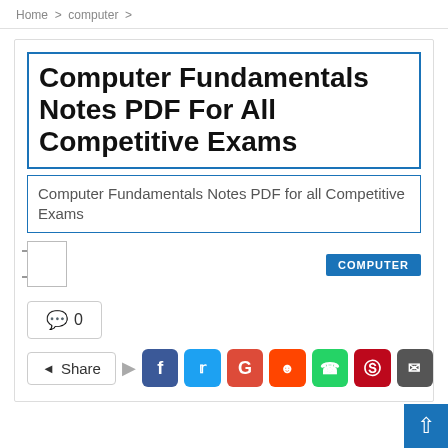Home > computer >
Computer Fundamentals Notes PDF For All Competitive Exams
Computer Fundamentals Notes PDF for all Competitive Exams
COMPUTER
💬 0
< Share | f | t | G | reddit | WhatsApp | Pinterest | email